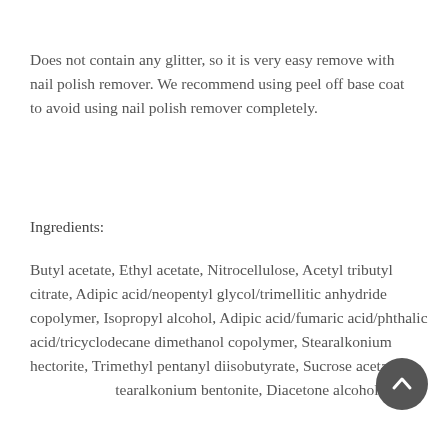Does not contain any glitter, so it is very easy remove with nail polish remover. We recommend using peel off base coat to avoid using nail polish remover completely.
Ingredients:
Butyl acetate, Ethyl acetate, Nitrocellulose, Acetyl tributyl citrate, Adipic acid/neopentyl glycol/trimellitic anhydride copolymer, Isopropyl alcohol, Adipic acid/fumaric acid/phthalic acid/tricyclodecane dimethanol copolymer, Stearalkonium hectorite, Trimethyl pentanyl diisobutyrate, Sucrose acetate isobutyrate, Stearalkonium bentonite, Diacetone alcohol, Citric